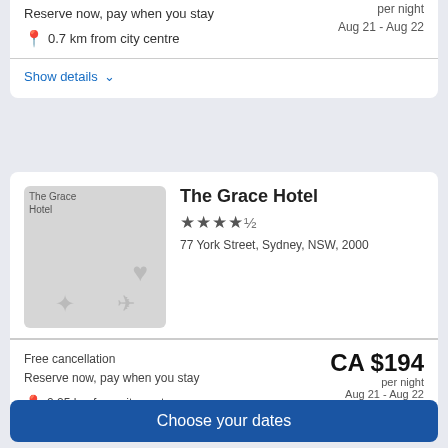Reserve now, pay when you stay
per night
Aug 21 - Aug 22
0.7 km from city centre
Show details ▾
[Figure (photo): The Grace Hotel placeholder image with icons]
The Grace Hotel
★★★★½
77 York Street, Sydney, NSW, 2000
Free cancellation
Reserve now, pay when you stay
CA $194
per night
Aug 21 - Aug 22
0.25 km from city centre
Choose your dates